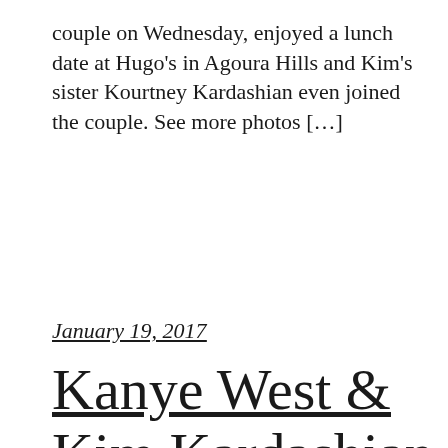couple on Wednesday, enjoyed a lunch date at Hugo's in Agoura Hills and Kim's sister Kourtney Kardashian even joined the couple. See more photos […]
January 19, 2017
Kanye West & Kim Kardashian Share